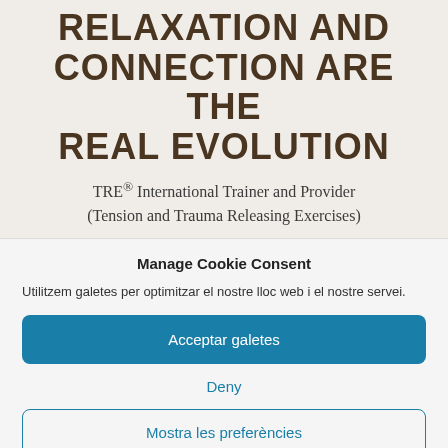RELAXATION AND CONNECTION ARE THE REAL EVOLUTION
TRE® International Trainer and Provider (Tension and Trauma Releasing Exercises)
Manage Cookie Consent
Utilitzem galetes per optimitzar el nostre lloc web i el nostre servei.
Acceptar galetes
Deny
Mostra les preferències